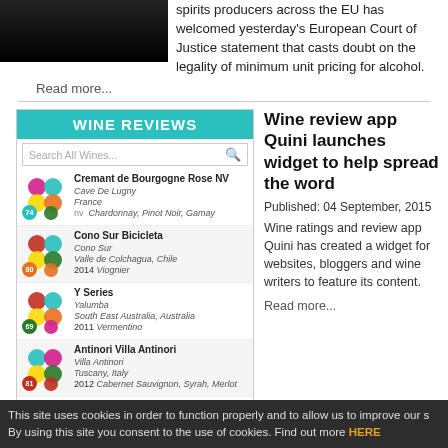[Figure (photo): Dark/black image at top left, partial view of people or scene]
spirits producers across the EU has welcomed yesterday's European Court of Justice statement that casts doubt on the legality of minimum unit pricing for alcohol.
Read more...
[Figure (screenshot): Wine Reviews app widget showing search bar and wine entries: Cremant de Bourgogne Rose NV (Cave De Lugny, France, nv, Chardonnay Pinot Noir Gamay, score 74), Cono Sur Bicicleta (Cono Sur, Valle de Colchagua Chile, 2014 Viognier, score 80), Y Series (Yalumba, South East Australia Australia, 2011 Vermentino, score 69), Antinori Villa Antinori (Villa Antinori, Tuscany Italy, 2012 Cabernet Sauvignon Syrah Merlot, score 81), Villa Medoro Montepulciano (Villa Medoro)]
Wine review app Quini launches widget to help spread the word
Published:  04 September, 2015
Wine ratings and review app Quini has created a widget for websites, bloggers and wine writers to feature its content.
Read more...
This site uses cookies in order to function properly and to allow us to improve our s By using this site you consent to the use of cookies. Find out more HERE